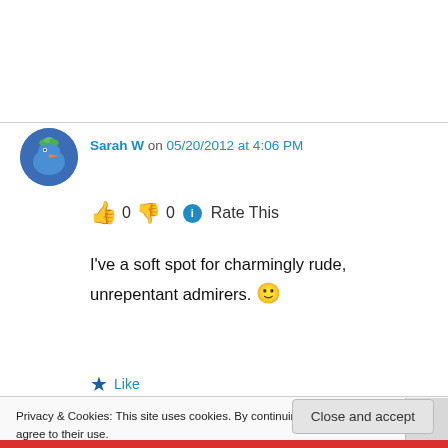Sarah W on 05/20/2012 at 4:06 PM
👍 0 👎 0 ℹ Rate This
I've a soft spot for charmingly rude, unrepentant admirers. 🙂
★ Like
Privacy & Cookies: This site uses cookies. By continuing to use this website, you agree to their use.
To find out more, including how to control cookies, see here: Cookie Policy
Close and accept